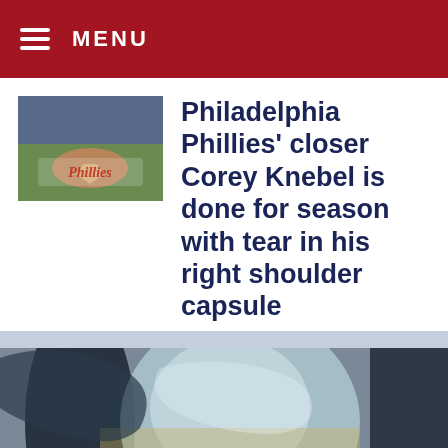MENU
Philadelphia Phillies' closer Corey Knebel is done for season with tear in his right shoulder capsule
[Figure (photo): Thumbnail photo of a Phillies baseball field with Phillies logo/script text]
[Figure (photo): Close-up photo of what appears to be glass or metal curved objects, possibly sports equipment]
Home  EEO  Public File  Jobs  Contest Rules  FCC Applications